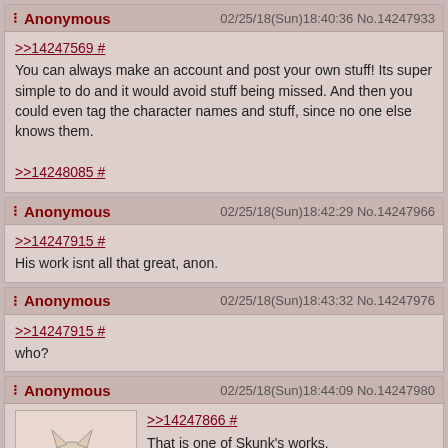Anonymous 02/25/18(Sun)18:40:36 No.14247933
>>14247569 #
You can always make an account and post your own stuff! Its super simple to do and it would avoid stuff being missed. And then you could even tag the character names and stuff, since no one else knows them.
>>14248085 #
Anonymous 02/25/18(Sun)18:42:29 No.14247966
>>14247915 #
His work isnt all that great, anon.
Anonymous 02/25/18(Sun)18:43:32 No.14247976
>>14247915 #
who?
Anonymous 02/25/18(Sun)18:44:09 No.14247980
>>14247866 #
That is one of Skunk's works.